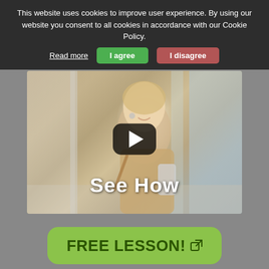This website uses cookies to improve user experience. By using our website you consent to all cookies in accordance with our Cookie Policy.
Read more | I agree | I disagree
[Figure (photo): A smiling young blonde woman wearing earphones and a beige coat, holding a smartphone, with a video play button overlay and text 'See How' at the bottom]
FREE LESSON!